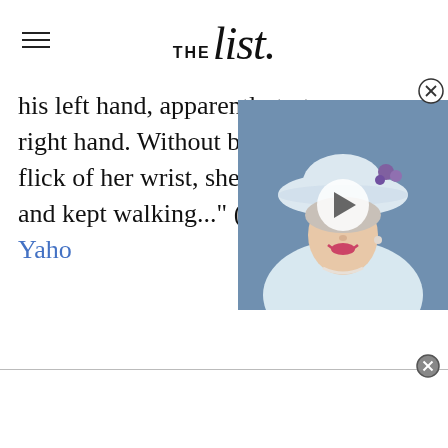THE list
his left hand, apparently to t[rain his] right hand. Without breaking [stride,] flick of her wrist, she appear[ed to] and kept walking..." (via Yaho[o])
[Figure (photo): Video overlay showing Queen Elizabeth II smiling, wearing a white hat with purple flowers and pearl necklace, with a play button overlay]
[Figure (other): Advertisement bar at the bottom of the page]